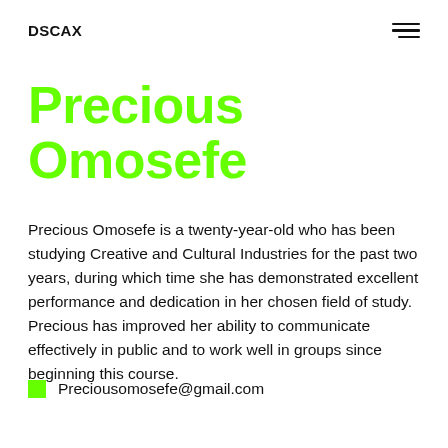DSCAX
Precious Omosefe
Precious Omosefe is a twenty-year-old who has been studying Creative and Cultural Industries for the past two years, during which time she has demonstrated excellent performance and dedication in her chosen field of study. Precious has improved her ability to communicate effectively in public and to work well in groups since beginning this course.
Preciousomosefe@gmail.com